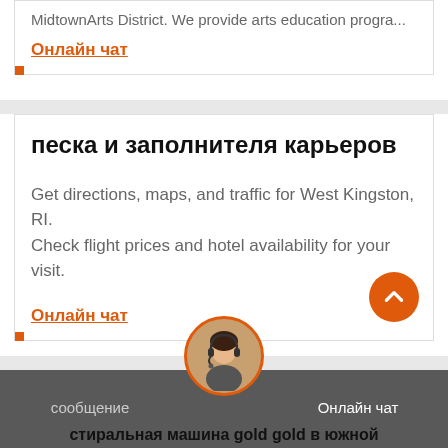MidtownArts District. We provide arts education progra...
Онлайн чат
песка и заполнителя карьеров
Get directions, maps, and traffic for West Kingston, RI. Check flight prices and hotel availability for your visit.
Онлайн чат
сообщение
Онлайн чат
стиральная машина gold gold в южной